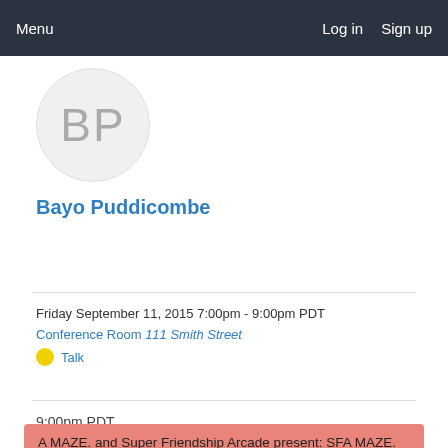Menu   Log in   Sign up
[Figure (illustration): Circular avatar with initials BP in grey on light grey background]
Bayo Puddicombe
Friday September 11, 2015 7:00pm - 9:00pm PDT
Conference Room 111 Smith Street
Talk
9:00pm PDT
A MAZE. and Super Friendship Arcade present: SFA MAZE.